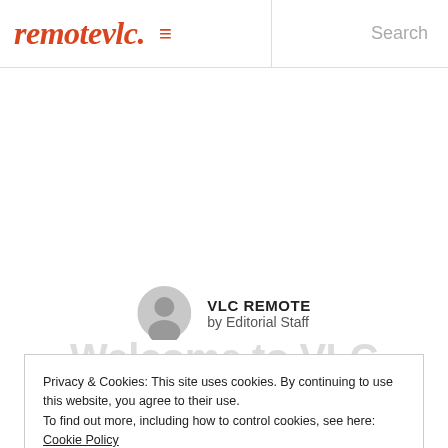remotevlc. ≡  Search
[Figure (illustration): Gray circular avatar/profile icon]
VLC REMOTE
by Editorial Staff
Welcome to VLC Remote Control Blog (watermark)
Privacy & Cookies: This site uses cookies. By continuing to use this website, you agree to their use.
To find out more, including how to control cookies, see here: Cookie Policy
Close and accept
July 20, 2021
0